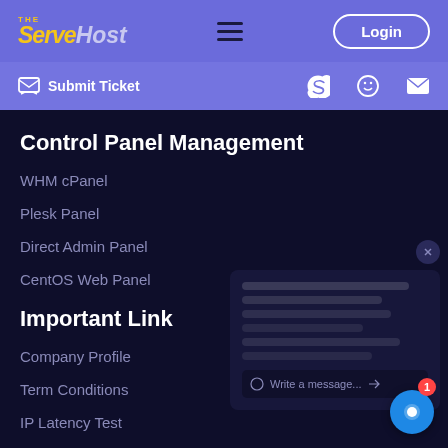THE ServerHost — Login
Submit Ticket
Control Panel Management
WHM cPanel
Plesk Panel
Direct Admin Panel
CentOS Web Panel
Important Link
Company Profile
Term Conditions
IP Latency Test
Cancellation Refund